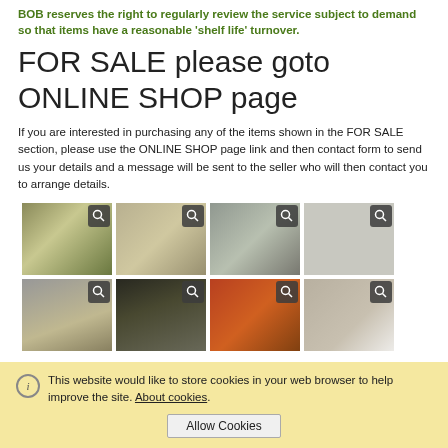BOB reserves the right to regularly review the service subject to demand so that items have a reasonable 'shelf life' turnover.
FOR SALE please goto ONLINE SHOP page
If you are interested in purchasing any of the items shown in the FOR SALE section, please use the ONLINE SHOP page link and then contact form to send us your details and a message will be sent to the seller who will then contact you to arrange details.
[Figure (photo): Grid of 8 product photos with magnifier icons, showing various items for sale]
This website would like to store cookies in your web browser to help improve the site. About cookies. Allow Cookies.